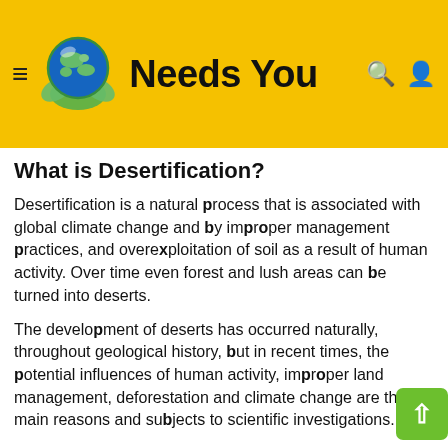Needs You
What is Desertification?
Desertification is a natural process that is associated with global climate change and by improper management practices, and overexploitation of soil as a result of human activity. Over time even forest and lush areas can be turned into deserts.
The development of deserts has occurred naturally, throughout geological history, but in recent times, the potential influences of human activity, improper land management, deforestation and climate change are the main reasons and subjects to scientific investigations.